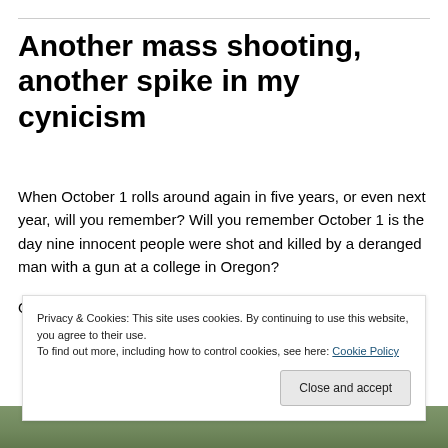Another mass shooting, another spike in my cynicism
When October 1 rolls around again in five years, or even next year, will you remember? Will you remember October 1 is the day nine innocent people were shot and killed by a deranged man with a gun at a college in Oregon?
Or will you not even register the date’s significance, because it merits no more than a passing notice in the...
Privacy & Cookies: This site uses cookies. By continuing to use this website, you agree to their use.
To find out more, including how to control cookies, see here: Cookie Policy
[Figure (photo): Partial view of an outdoor photo, likely trees or foliage, visible at the bottom of the page]